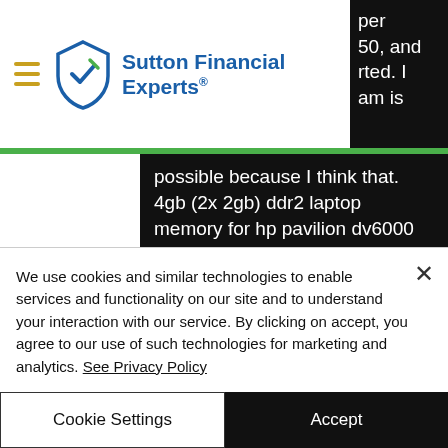Sutton Financial Experts
per 50, and rted. I am is possible because I think that. 4gb (2x 2gb) ddr2 laptop memory for hp pavilion dv6000 &amp; dv9000 series dv9819wm. Lenovo g50 30 slots ram lenovo g50-70 ram yükseltme. Lenovo g510 cpu upgrade, lenovo g50 cpu upgrade, cpu upgrade hp pavilion dv6000. You can upgrade your hp pavilion dv6-7013cl laptop to up to a maximum memory capacity of 16 gb
We use cookies and similar technologies to enable services and functionality on our site and to understand your interaction with our service. By clicking on accept, you agree to our use of such technologies for marketing and analytics. See Privacy Policy